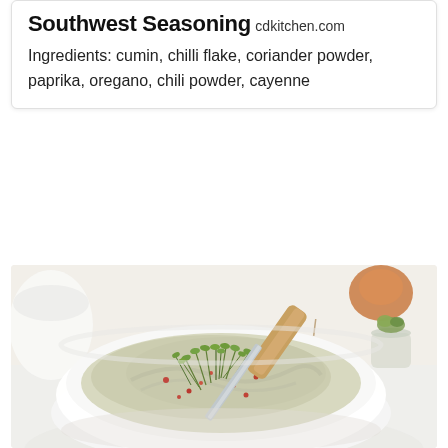Southwest Seasoning
cdkitchen.com
Ingredients: cumin, chilli flake, coriander powder, paprika, oregano, chili powder, cayenne
[Figure (photo): A white ceramic bowl filled with a seasoned spread or dip, garnished with fresh green herbs (cress/microgreens) and red chili flakes. A knife with a wooden/tan handle rests in the bowl. Background is white/light with another small glass jar of herbs visible. White linen/cloth beneath.]